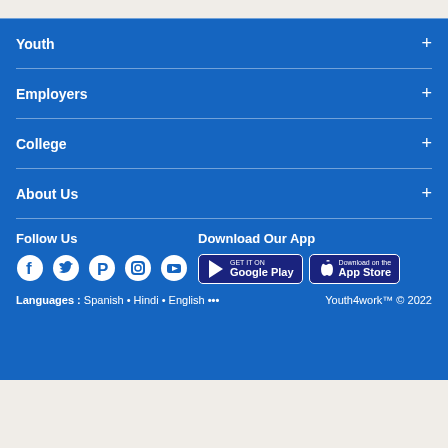Youth +
Employers +
College +
About Us +
Follow Us
Download Our App
[Figure (logo): Social media icons: Facebook, Twitter, Pinterest, Instagram, YouTube]
[Figure (logo): Google Play and App Store download badges]
Languages : Spanish • Hindi • English ••• Youth4work™ © 2022